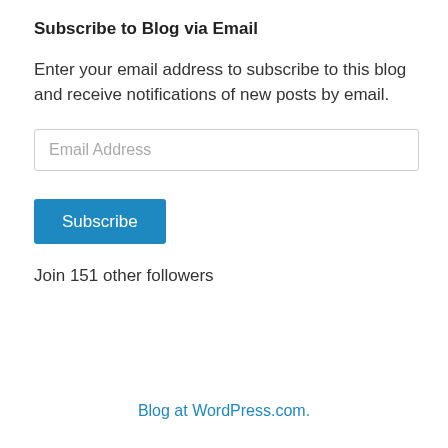Subscribe to Blog via Email
Enter your email address to subscribe to this blog and receive notifications of new posts by email.
Join 151 other followers
Blog at WordPress.com.